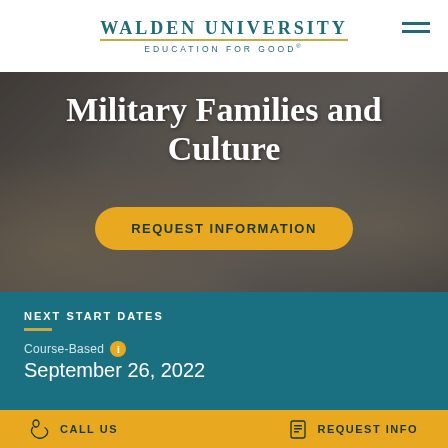Walden University — Education for Good
[Figure (photo): Hero banner showing people, partially cropped, with overlay text about Military Families and Culture]
Military Families and Culture
REQUEST INFORMATION
NEXT START DATES
Course-Based
September 26, 2022
ACCREDITATIONS
CALL US   REQUEST INFO